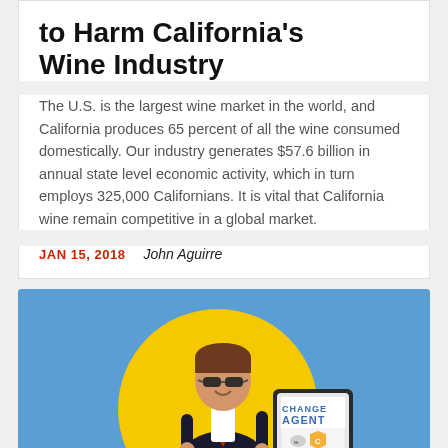to Harm California's Wine Industry
The U.S. is the largest wine market in the world, and California produces 65 percent of all the wine consumed domestically. Our industry generates $57.6 billion in annual state level economic activity, which in turn employs 325,000 Californians. It is vital that California wine remain competitive in a global market.
JAN 15, 2018   John Aguirre
[Figure (illustration): Cartoon illustration of a smiling man in a suit and sunglasses holding a tablet showing 'CHANGE AGENT', set against a yellow circle on a blue background.]